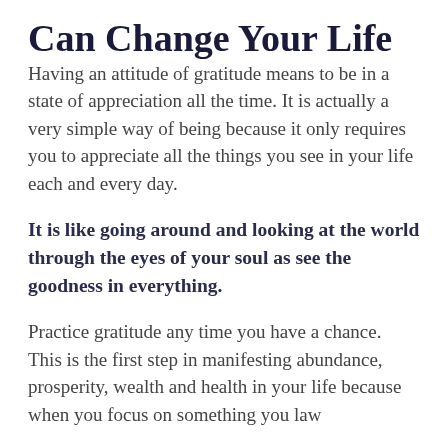Can Change Your Life
Having an attitude of gratitude means to be in a state of appreciation all the time. It is actually a very simple way of being because it only requires you to appreciate all the things you see in your life each and every day.
It is like going around and looking at the world through the eyes of your soul as see the goodness in everything.
Practice gratitude any time you have a chance. This is the first step in manifesting abundance, prosperity, wealth and health in your life because when you focus on something you law